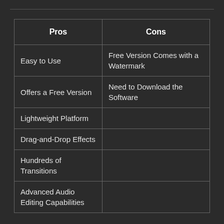| Pros | Cons |
| --- | --- |
| Easy to Use | Free Version Comes with a Watermark |
| Offers a Free Version | Need to Download the Software |
| Lightweight Platform |  |
| Drag-and-Drop Effects |  |
| Hundreds of Transitions |  |
| Advanced Audio Editing Capabilities |  |